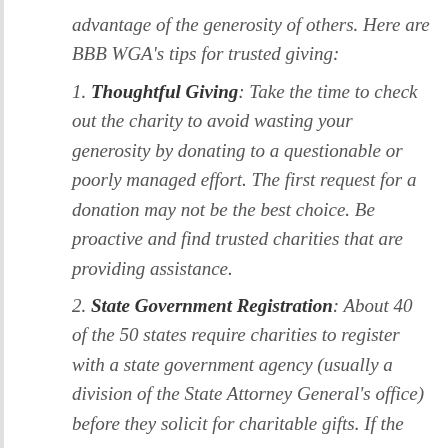advantage of the generosity of others. Here are BBB WGA's tips for trusted giving:
1. Thoughtful Giving: Take the time to check out the charity to avoid wasting your generosity by donating to a questionable or poorly managed effort. The first request for a donation may not be the best choice. Be proactive and find trusted charities that are providing assistance.
2. State Government Registration: About 40 of the 50 states require charities to register with a state government agency (usually a division of the State Attorney General's office) before they solicit for charitable gifts. If the